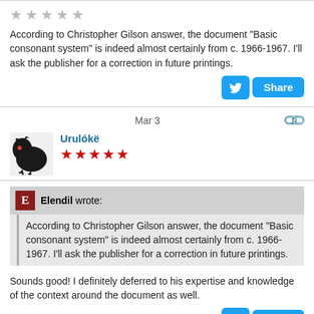[Figure (other): Empty star rating row (5 empty/gray stars)]
According to Christopher Gilson answer, the document "Basic consonant system" is indeed almost certainly from c. 1966-1967. I'll ask the publisher for a correction in future printings.
[Figure (other): Twitter share button and Share button]
Mar 3
[Figure (photo): Dragon avatar image]
Urulókë
[Figure (other): 5 red filled star rating]
Elendil wrote: According to Christopher Gilson answer, the document "Basic consonant system" is indeed almost certainly from c. 1966-1967. I'll ask the publisher for a correction in future printings.
Sounds good! I definitely deferred to his expertise and knowledge of the context around the document as well.
[Figure (other): Twitter share button and Share button]
Mar 11 (edited)